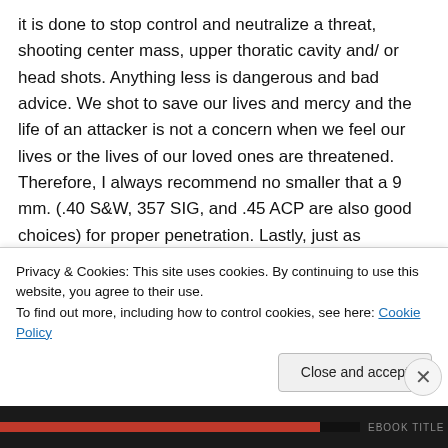it is done to stop control and neutralize a threat, shooting center mass, upper thoratic cavity and/or head shots. Anything less is dangerous and bad advice. We shot to save our lives and mercy and the life of an attacker is not a concern when we feel our lives or the lives of our loved ones are threatened. Therefore, I always recommend no smaller that a 9 mm. (.40 S&W, 357 SIG, and .45 ACP are also good choices) for proper penetration. Lastly, just as imporantant as caliber is the type of ammunition. Ball ammo / Full Metal
Privacy & Cookies: This site uses cookies. By continuing to use this website, you agree to their use.
To find out more, including how to control cookies, see here: Cookie Policy